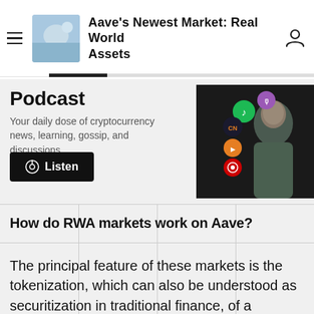Aave's Newest Market: Real World Assets
Podcast
Your daily dose of cryptocurrency news, learning, gossip, and discussions.
[Figure (photo): Man with podcast platform icons (Spotify, Apple Podcasts, etc.)]
How do RWA markets work on Aave?
The principal feature of these markets is the tokenization, which can also be understood as securitization in traditional finance, of a business's operations.